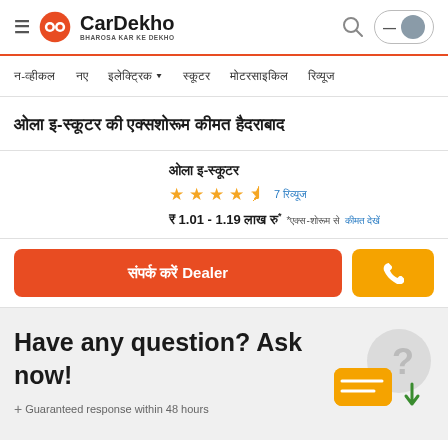CarDekho - BHAROSA KAR KE DEKHO
न-व्हीकल  नए  इलेक्ट्रिक ▼  स्कूटर  मोटरसाइकिल  रिव्यूज
ओला इ-स्कूटर की एक्सशोरूम कीमत हैदराबाद
ओला इ-स्कूटर
★★★★½ 7 रिव्यूज
₹ 1.01 - 1.19 लाख रु* *एक्स-शोरूम से कीमत देखें
संपर्क करें Dealer
Have any question? Ask now!
+ Guaranteed response within 48 hours